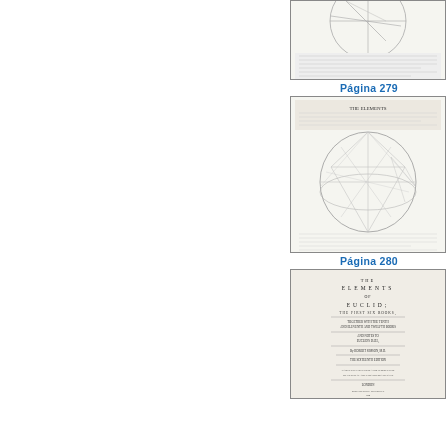[Figure (illustration): Partial thumbnail of a geometric diagram page from Euclid's Elements, showing a circle with inscribed geometric construction lines and text below it. Top portion cropped.]
Página 279
[Figure (illustration): Full thumbnail of page 279 from Euclid's Elements showing 'THE ELEMENTS' header, text in two columns, and a geometric diagram of a sphere with inscribed polyhedron construction lines.]
Página 280
[Figure (illustration): Full thumbnail of page 280 from Euclid's Elements showing the title page: 'THE ELEMENTS OF EUCLID; THE FIRST SIX BOOKS' with author and edition information, published in London.]